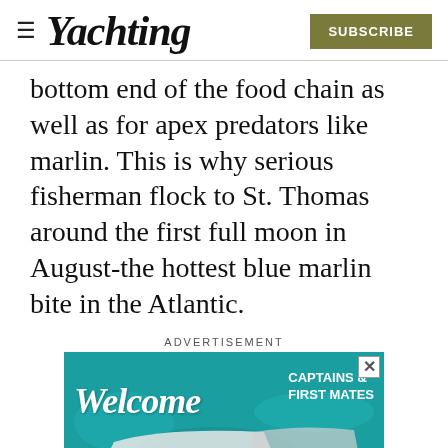Yachting | SUBSCRIBE
bottom end of the food chain as well as for apex predators like marlin. This is why serious fisherman flock to St. Thomas around the first full moon in August-the hottest blue marlin bite in the Atlantic.
ADVERTISEMENT
[Figure (photo): Advertisement banner: 'Welcome CAPTAINS & FIRST MATES' on teal ocean background with boat imagery]
[Figure (photo): Advertisement banner: GEICO BoatUS - GREAT RATES COMING AT YOU! with boat and gecko image]